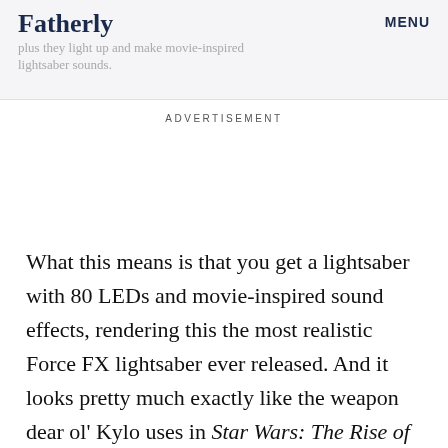Fatherly  MENU
plus they light up and make movie-inspired lightsaber sounds.
ADVERTISEMENT
What this means is that you get a lightsaber with 80 LEDs and movie-inspired sound effects, rendering this the most realistic Force FX lightsaber ever released. And it looks pretty much exactly like the weapon dear ol' Kylo uses in Star Wars: The Rise of Skywalker.